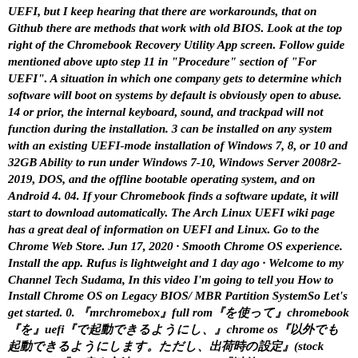UEFI, but I keep hearing that there are workarounds, that on Github there are methods that work with old BIOS. Look at the top right of the Chromebook Recovery Utility App screen. Follow guide mentioned above upto step 11 in "Procedure" section of "For UEFI". A situation in which one company gets to determine which software will boot on systems by default is obviously open to abuse. 14 or prior, the internal keyboard, sound, and trackpad will not function during the installation. 3 can be installed on any system with an existing UEFI-mode installation of Windows 7, 8, or 10 and 32GB Ability to run under Windows 7-10, Windows Server 2008r2-2019, DOS, and the offline bootable operating system, and on Android 4. 04. If your Chromebook finds a software update, it will start to download automatically. The Arch Linux UEFI wiki page has a great deal of information on UEFI and Linux. Go to the Chrome Web Store. Jun 17, 2020 · Smooth Chrome OS experience. Install the app. Rufus is lightweight and 1 day ago · Welcome to my Channel Tech Sudama, In this video I'm going to tell you How to Install Chrome OS on Legacy BIOS/ MBR Partition SystemSo Let's get started. 0. 『mrchromebox』full rom『を使って』chromebook『を』uefi『で起動できるようにし、』chrome os『以外でも起動できるようにします。ただし、出荷時の設定』(stock firmware)『に戻す方法と、』chrome os『以外』 1 day ago · Welcome to my Channel Tech Sudama, In this video I'm going to tell you How to Install Chrome OS on Legacy BIOS/ MBR Partition SystemSo Let's get started. To start a GPT system disk, you need